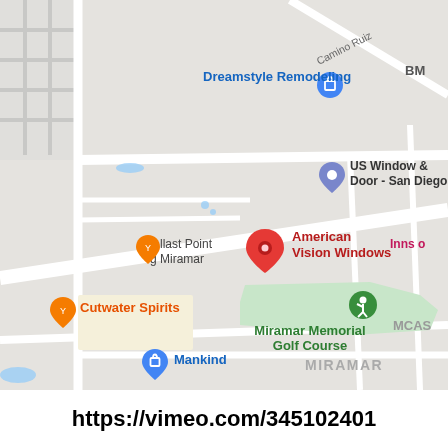[Figure (map): Google Maps screenshot showing the area around Miramar, San Diego. Key landmarks visible include: American Vision Windows (red pin, center), Dreamstyle Remodeling (blue pin, upper center), US Window & Door - San Diego (gray pin, upper center-right), Cutwater Spirits (orange pin, left), Miramar Memorial Golf Course (green area with golf icon, center-bottom), Mankind (blue pin, lower-left), and text labels for MCAS, MIRAMAR, Inns o[f], Blast Point, and Camino Ruiz road.]
https://vimeo.com/345102401